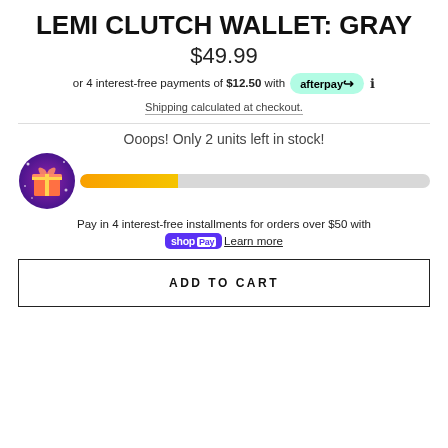LEMI CLUTCH WALLET: GRAY
$49.99
or 4 interest-free payments of $12.50 with afterpay ℹ
Shipping calculated at checkout.
Ooops! Only 2 units left in stock!
[Figure (infographic): Gift box icon with progress bar showing low stock indicator]
Pay in 4 interest-free installments for orders over $50 with Shop Pay  Learn more
ADD TO CART